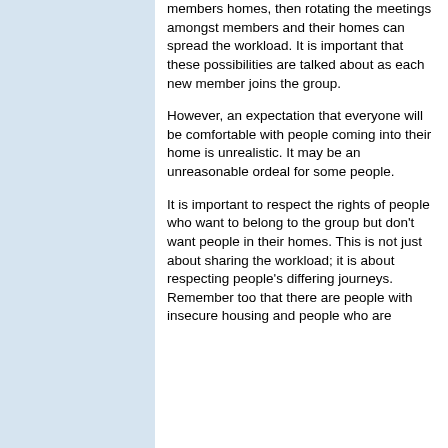members homes, then rotating the meetings amongst members and their homes can spread the workload. It is important that these possibilities are talked about as each new member joins the group.
However, an expectation that everyone will be comfortable with people coming into their home is unrealistic. It may be an unreasonable ordeal for some people.
It is important to respect the rights of people who want to belong to the group but don't want people in their homes. This is not just about sharing the workload; it is about respecting people's differing journeys. Remember too that there are people with insecure housing and people who are